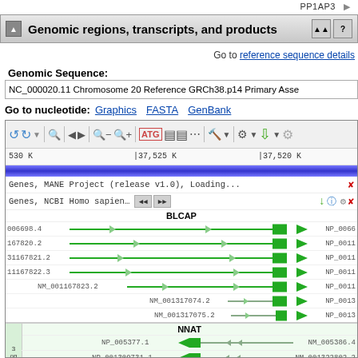PP1AP3
Genomic regions, transcripts, and products
Go to reference sequence details
Genomic Sequence:
NC_000020.11 Chromosome 20 Reference GRCh38.p14 Primary Assembly
Go to nucleotide: Graphics FASTA GenBank
[Figure (screenshot): NCBI genomic viewer showing chromosomal region with ruler at 530K, 37,525K, 37,520K. Shows gene tracks for BLCAP gene with transcripts NM_006698.4, NM_167820.2, NM_001167821.2, NM_001167822.3, NM_001167823.2, NM_001317074.2, NM_001317075.2 and corresponding protein products. Also shows NNAT gene section with NP_005377.1/NM_005386.4, NP_001309731.1/NM_001322802.2, NP_859017.1/NM_181689.3. Bottom row shows Biological regions track.]